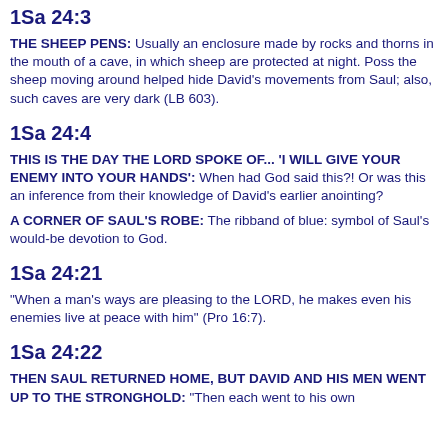1Sa 24:3
THE SHEEP PENS: Usually an enclosure made by rocks and thorns in the mouth of a cave, in which sheep are protected at night. Poss the sheep moving around helped hide David's movements from Saul; also, such caves are very dark (LB 603).
1Sa 24:4
THIS IS THE DAY THE LORD SPOKE OF... 'I WILL GIVE YOUR ENEMY INTO YOUR HANDS': When had God said this?! Or was this an inference from their knowledge of David's earlier anointing?
A CORNER OF SAUL'S ROBE: The ribband of blue: symbol of Saul's would-be devotion to God.
1Sa 24:21
"When a man's ways are pleasing to the LORD, he makes even his enemies live at peace with him" (Pro 16:7).
1Sa 24:22
THEN SAUL RETURNED HOME, BUT DAVID AND HIS MEN WENT UP TO THE STRONGHOLD: "Then each went to his own